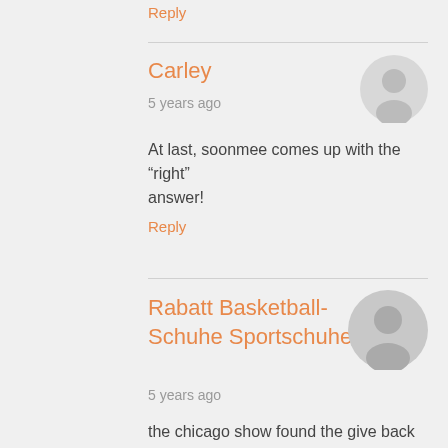Reply
Carley
5 years ago
At last, soonmee comes up with the “right” answer!
Reply
Rabatt Basketball-Schuhe Sportschuhe
5 years ago
the chicago show found the give back connected with two or three fronts common